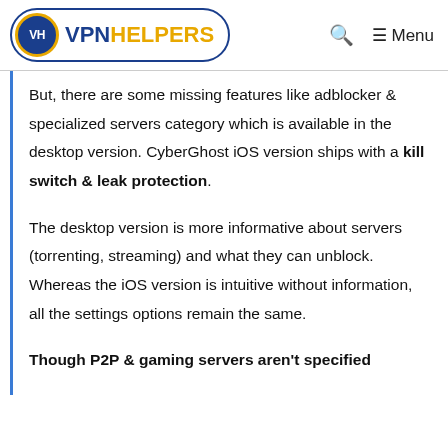VPN HELPERS — Q Menu
But, there are some missing features like adblocker & specialized servers category which is available in the desktop version. CyberGhost iOS version ships with a kill switch & leak protection.
The desktop version is more informative about servers (torrenting, streaming) and what they can unblock. Whereas the iOS version is intuitive without information, all the settings options remain the same.
Though P2P & gaming servers aren't specified